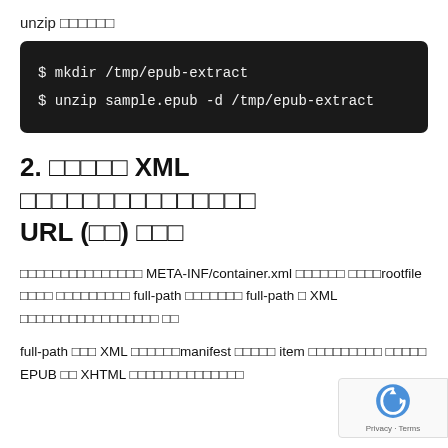unzip ######
$ mkdir /tmp/epub-extract
$ unzip sample.epub -d /tmp/epub-extract
2. ###### XML ################ URL (##) ###
################ META-INF/container.xml ###### ####rootfile #### ######### full-path ####### full-path # XML ################## ##
full-path ### XML ######manifest ###### item ########## ###### EPUB ## XHTML ##############